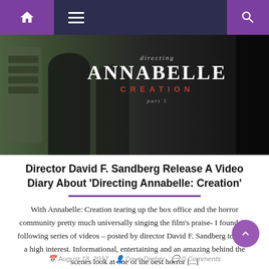Navigation bar with home, menu, and search icons
[Figure (photo): Hero banner image for 'Directing Annabelle: Creation Part 1' with dark silhouettes and stylized text overlay showing 'directing ANNABELLE CREATION part 1']
Director David F. Sandberg Release A Video Diary About ‘Directing Annabelle: Creation’
With Annabelle: Creation tearing up the box office and the horror community pretty much universally singing the film’s praise- I found the following series of videos – posted by director David F. Sandberg to be of a high interest. Informational, entertaining and an amazing behind the scenes look at one of the best horror [...]
August 18, 2017   Dave Dreher   0 Comments